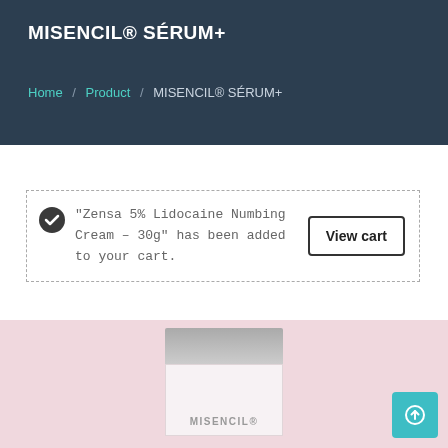MISENCIL® SÉRUM+
Home / Product / MISENCIL® SÉRUM+
"Zensa 5% Lidocaine Numbing Cream – 30g" has been added to your cart.
[Figure (screenshot): View cart button with dashed border notification box]
[Figure (photo): MISENCIL product box on pink background, partially visible]